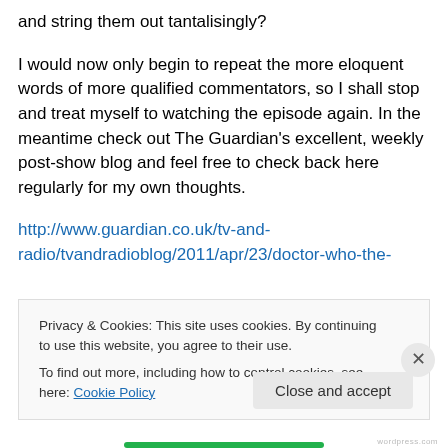and string them out tantalisingly?
I would now only begin to repeat the more eloquent words of more qualified commentators, so I shall stop and treat myself to watching the episode again. In the meantime check out The Guardian's excellent, weekly post-show blog and feel free to check back here regularly for my own thoughts.
http://www.guardian.co.uk/tv-and-radio/tvandradioblog/2011/apr/23/doctor-who-the-
Privacy & Cookies: This site uses cookies. By continuing to use this website, you agree to their use.
To find out more, including how to control cookies, see here: Cookie Policy